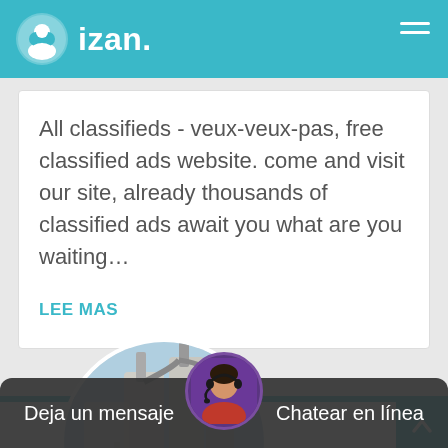izan.
All classifieds - veux-veux-pas, free classified ads website. come and visit our site, already thousands of classified ads await you what are you waiting...
LEE MAS
[Figure (photo): Industrial facility with large cyclone dust collectors and pipes, shown in a circular crop]
[Figure (photo): Customer service agent with headset, shown in a small circular portrait in the bottom navigation bar]
Deja un mensaje   Chatear en línea